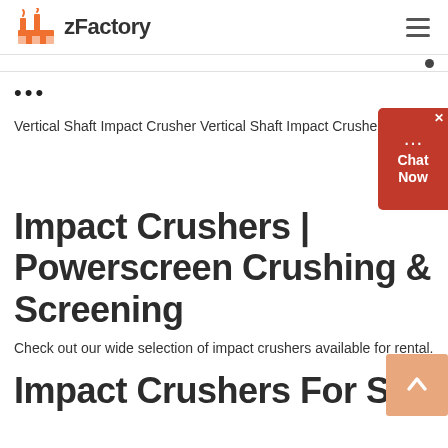zFactory
...
Vertical Shaft Impact Crusher Vertical Shaft Impact Crusher, it have a...
[Figure (screenshot): Chat Now widget - red background with chat bubble icon, close button (x), and 'Chat Now' label]
Impact Crushers | Powerscreen Crushing & Screening
Check out our wide selection of impact crushers available for rental. No ...
Impact Crushers For Sale |